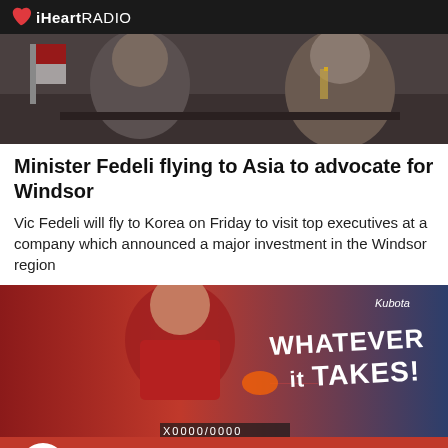iHeartRADIO
[Figure (photo): Photo of a person in formal/military attire seated at a table, appearing to be at an official meeting or press conference]
Minister Fedeli flying to Asia to advocate for Windsor
Vic Fedeli will fly to Korea on Friday to visit top executives at a company which announced a major investment in the Windsor region
[Figure (photo): Advertisement image featuring a young hockey player in red jersey with text 'WHATEVER IT TAKES!' and Kubota branding, with Windsor Spitfires logo]
The Morning Drive
Duclos to make vaccine announ... More >
Listen Live